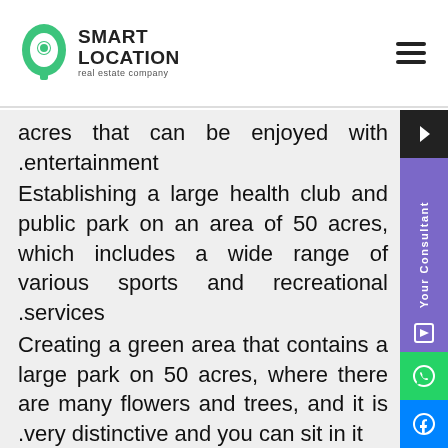Smart Location real estate company
acres that can be enjoyed with .entertainment Establishing a large health club and public park on an area of 50 acres, which includes a wide range of various sports and recreational .services Creating a green area that contains a large park on 50 acres, where there are many flowers and trees, and it is .very distinctive and you can sit in it Providing industrial lakes in the middle of green spaces to give the